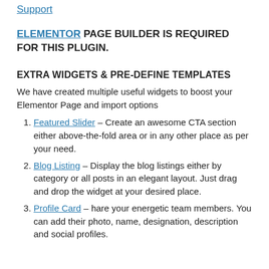Support
ELEMENTOR PAGE BUILDER IS REQUIRED FOR THIS PLUGIN.
EXTRA WIDGETS & PRE-DEFINE TEMPLATES
We have created multiple useful widgets to boost your Elementor Page and import options
Featured Slider – Create an awesome CTA section either above-the-fold area or in any other place as per your need.
Blog Listing – Display the blog listings either by category or all posts in an elegant layout. Just drag and drop the widget at your desired place.
Profile Card – hare your energetic team members. You can add their photo, name, designation, description and social profiles.